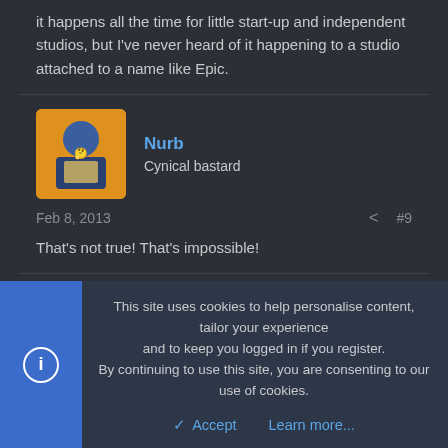it happens all the time for little start-up and independent studios, but I've never heard of it happening to a studio attached to a name like Epic.
Nurb
Cynical bastard
Feb 8, 2013
#9
That's not true! That's impossible!
Albino Boo
New member
This site uses cookies to help personalise content, tailor your experience and to keep you logged in if you register.
By continuing to use this site, you are consenting to our use of cookies.
Accept
Learn more...